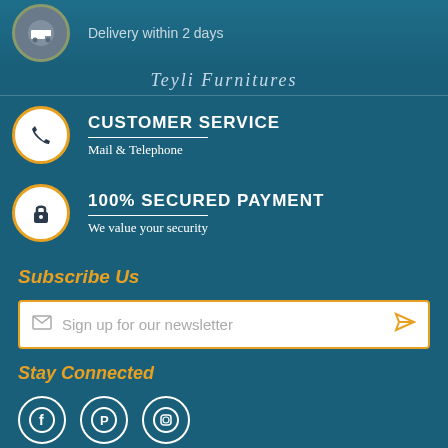[Figure (screenshot): Delivery service icon - circular badge with delivery truck icon, gold-grey border]
Delivery within 2 days
[Figure (logo): Teyli Furnitures brand name in decorative font]
CUSTOMER SERVICE
Mail & Telephone
100% SECURED PAYMENT
We value your security
Subscribe Us
Sign up for our newsletter
Stay Connected
[Figure (infographic): Social media icons: Facebook, Pinterest, Instagram]
About Us
[Figure (infographic): Chat with us button and arrow]
Bottom navigation bar with home, search, cart (0), account, and more icons